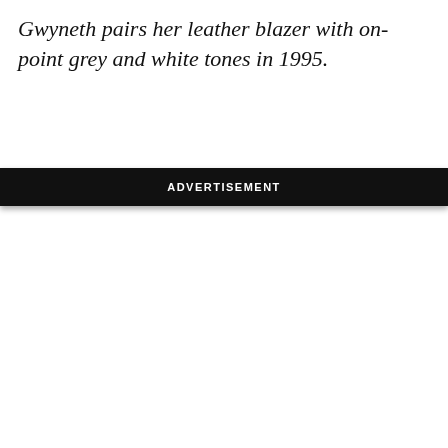Gwyneth pairs her leather blazer with on-point grey and white tones in 1995.
ADVERTISEMENT